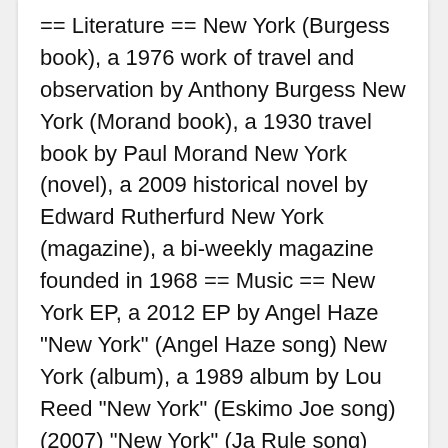== Literature == New York (Burgess book), a 1976 work of travel and observation by Anthony Burgess New York (Morand book), a 1930 travel book by Paul Morand New York (novel), a 2009 historical novel by Edward Rutherfurd New York (magazine), a bi-weekly magazine founded in 1968 == Music == New York EP, a 2012 EP by Angel Haze "New York" (Angel Haze song) New York (album), a 1989 album by Lou Reed "New York" (Eskimo Joe song) (2007) "New York" (Ja Rule song) (2004) "New York" (Paloma Faith song) (2009) "New York" (St. Vincent song) (2017) "New York" (Snow Patrol song) (2011) "New York" (U2 song) (2000) New York, a 2006 album by Antti Tuisku "New York", a 1977 song by the Sex Pistols from Never Mind the Bollocks,